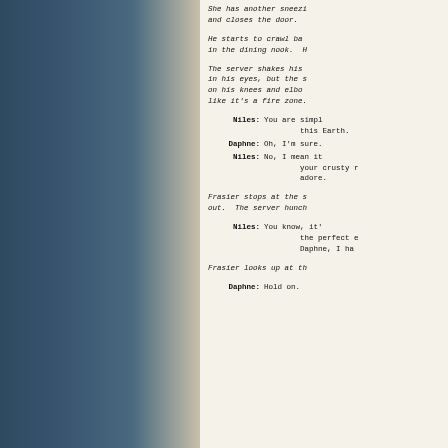She has another sneezi and closes the door.
He starts to crawl ba in the dining nook. H
The server shakes his in his eyes, but the s on his knees and elbow like it's a fire zone.
Niles: You are simpl this Earth.
Daphne: Oh, I'm sure.
Niles: No, I mean it your crusty r adore.
Frasier stops at the s out. The server hunch
Niles: You know, it' the perfect e Daphne, I ha
Frasier looks up at th
Daphne: Hold on.